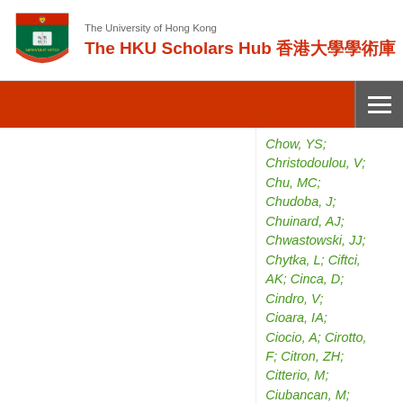The University of Hong Kong — The HKU Scholars Hub 香港大學學術庫
Chow, YS; Christodoulou, V; Chu, MC; Chudoba, J; Chuinard, AJ; Chwastowski, JJ; Chytka, L; Ciftci, AK; Cinca, D; Cindro, V; Cioara, IA; Ciocio, A; Cirotto, F; Citron, ZH; Citterio, M; Ciubancan, M; Clark, A; Clark, BL; Clark, MR; Clark, PJ; Clarke,